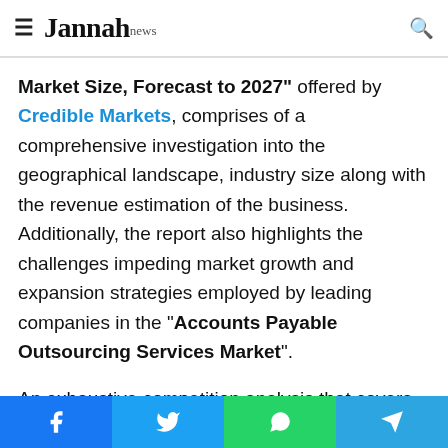Jannah News
Market Size, Forecast to 2027" offered by Credible Markets, comprises of a comprehensive investigation into the geographical landscape, industry size along with the revenue estimation of the business. Additionally, the report also highlights the challenges impeding market growth and expansion strategies employed by leading companies in the "Accounts Payable Outsourcing Services Market".
An exhaustive competition analysis that covers insightful data on industry leaders is intended to help potential market entrants and existing